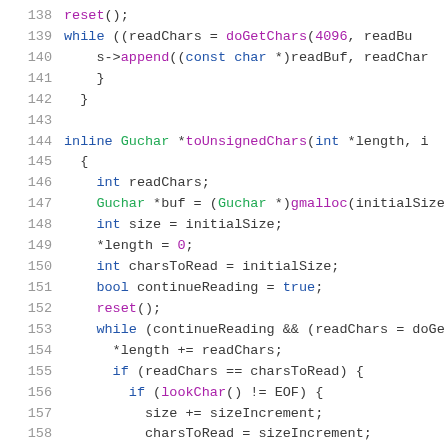[Figure (screenshot): Source code listing in C++ showing lines 138-159, with syntax highlighting: line numbers in gray, keywords in blue, types in green, numeric literals in purple, regular code in dark gray. The code shows methods reset(), toUnsignedChars(), and a while loop with buffer management.]